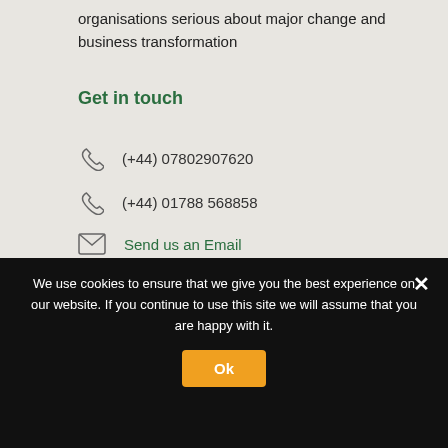organisations serious about major change and business transformation
Get in touch
(+44) 07802907620
(+44) 01788 568858
Send us an Email
We use cookies to ensure that we give you the best experience on our website. If you continue to use this site we will assume that you are happy with it.